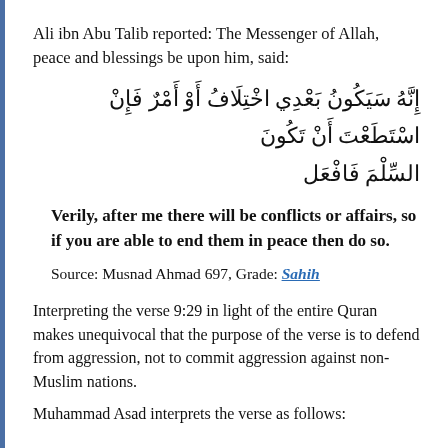Ali ibn Abu Talib reported: The Messenger of Allah, peace and blessings be upon him, said:
إِنَّهُ سَيَكُونُ بَعْدِي اخْتِلَافُ أَوْ أَمْرٌ فَإِنْ اسْتَطَعْتَ أَنْ تَكُونَ السِّلْمَ فَافْعَل
Verily, after me there will be conflicts or affairs, so if you are able to end them in peace then do so.
Source: Musnad Ahmad 697, Grade: Sahih
Interpreting the verse 9:29 in light of the entire Quran makes unequivocal that the purpose of the verse is to defend from aggression, not to commit aggression against non-Muslim nations.
Muhammad Asad interprets the verse as follows: